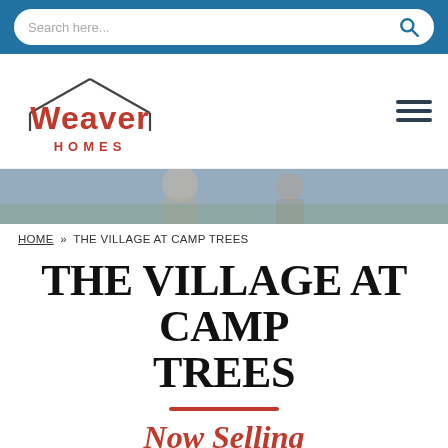Search here...
[Figure (logo): Weaver Homes logo with house roofline graphic above the text]
[Figure (photo): Cropped header photo showing two people outdoors in a field]
HOME » THE VILLAGE AT CAMP TREES
THE VILLAGE AT CAMP TREES
Now Selling
[Figure (photo): Outdoor photo showing trees and natural landscape at Camp Trees community]